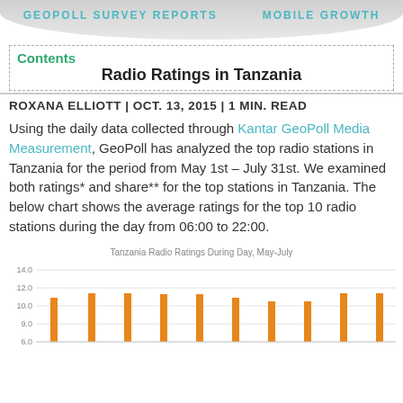GEOPOLL SURVEY REPORTS   MOBILE GROWTH
Radio Ratings in Tanzania
Contents
ROXANA ELLIOTT | OCT. 13, 2015 | 1 MIN. READ
Using the daily data collected through Kantar GeoPoll Media Measurement, GeoPoll has analyzed the top radio stations in Tanzania for the period from May 1st – July 31st. We examined both ratings* and share** for the top stations in Tanzania. The below chart shows the average ratings for the top 10 radio stations during the day from 06:00 to 22:00.
[Figure (bar-chart): Tanzania Radio Ratings During Day, May-July]